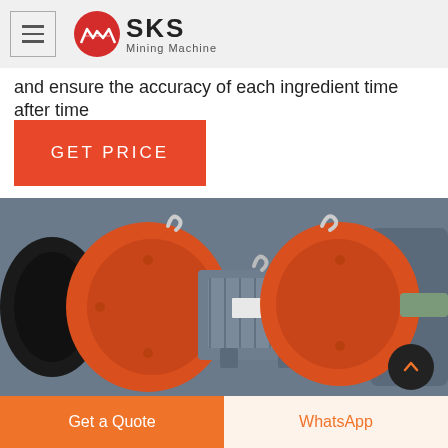SKS Mining Machine
and ensure the accuracy of each ingredient time after time
GET PRICE
[Figure (photo): Industrial mining machine with orange gear/motor housings and a gray electric motor in the center, viewed from the front]
Get a Quote
WhatsApp